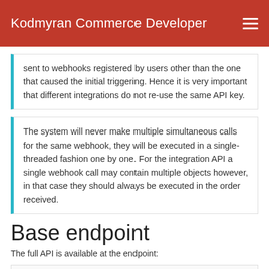Kodmyran Commerce Developer
sent to webhooks registered by users other than the one that caused the initial triggering. Hence it is very important that different integrations do not re-use the same API key.
The system will never make multiple simultaneous calls for the same webhook, they will be executed in a single-threaded fashion one by one. For the integration API a single webhook call may contain multiple objects however, in that case they should always be executed in the order received.
Base endpoint
The full API is available at the endpoint: